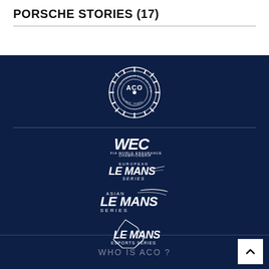PORSCHE STORIES (17)
[Figure (logo): ACO (Automobile Club de l'Ouest) gear/cog circular logo in white on dark navy background]
[Figure (logo): WEC FIA World Endurance Championship logo in white; European Le Mans Series logo in white; Asian Le Mans Series logo in white; Le Mans Esports Series logo in white]
WHO IS ACO ?